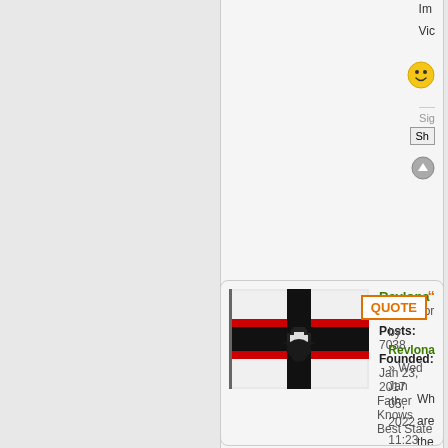11:14 am
Re an Im Vic
[Figure (illustration): Yellow smiley face emoji]
Sig
Sh
[Figure (illustration): Circular scroll/navigation icon]
[Figure (illustration): Imperial German war flag (Reichskriegsflagge) with black cross and eagle, waving]
Revlona
Negotiator
Posts: 7038
Founded: Jan 23, 2017
Father Knows Best State
QUOTE
by Revlona » Wed Jan 05, 2022 11:23 am
Wh
are
the